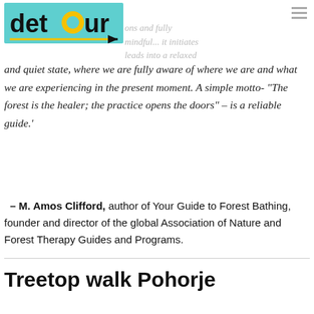[Figure (logo): Detour logo on teal/cyan background with arrow and yellow dot]
and quiet state, where we are fully aware of where we are and what we are experiencing in the present moment. A simple motto- "The forest is the healer; the practice opens the doors" – is a reliable guide.'
– M. Amos Clifford, author of Your Guide to Forest Bathing, founder and director of the global Association of Nature and Forest Therapy Guides and Programs.
Treetop walk Pohorje